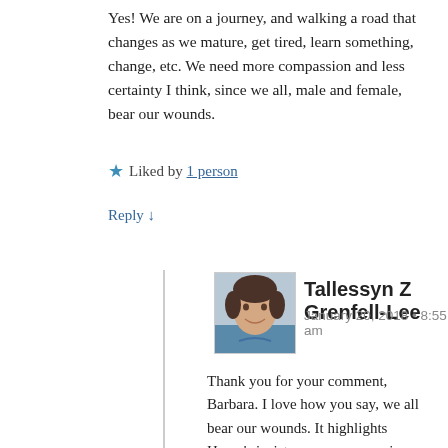Yes! We are on a journey, and walking a road that changes as we mature, get tired, learn something, change, etc. We need more compassion and less certainty I think, since we all, male and female, bear our wounds.
★ Liked by 1 person
Reply ↓
Tallessyn Z Grenfell-Lee
January 20, 2018 • 8:55 am
[Figure (photo): Profile photo of Tallessyn Z Grenfell-Lee, a woman with short dark hair smiling, wearing a blue top.]
Thank you for your comment, Barbara. I love how you say, we all bear our wounds. It highlights Hume's insistence on compassion as the true foundation of justice and healing. Importantly, we need to be compassionate with ourselves as well, and not expect to be perfect mothers, parents, partners, professionals, or otherwise, either. How to strike that balance between safety/high standards and yet compassion and healing is the messy work of life – that Hume says should happen in loving,